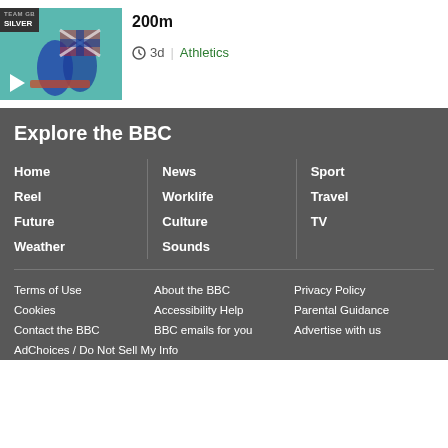[Figure (photo): Thumbnail image of athletes at a track event with Union Jack flags, showing SILVER badge overlay and play button]
200m
3d | Athletics
Explore the BBC
Home
Reel
Future
Weather
News
Worklife
Culture
Sounds
Sport
Travel
TV
Terms of Use
About the BBC
Privacy Policy
Cookies
Accessibility Help
Parental Guidance
Contact the BBC
BBC emails for you
Advertise with us
AdChoices / Do Not Sell My Info